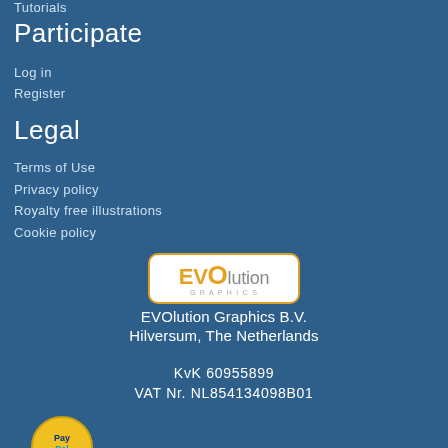Tutorials
Participate
Log in
Register
Legal
Terms of Use
Privacy policy
Royalty free illustrations
Cookie policy
[Figure (logo): EVOlution Graphics logo in white rounded rectangle with orange border]
EVOlution Graphics B.V.
Hilversum, The Netherlands
KvK 60955899
VAT Nr. NL854134098B01
[Figure (logo): PayPal logo partially visible at bottom left]